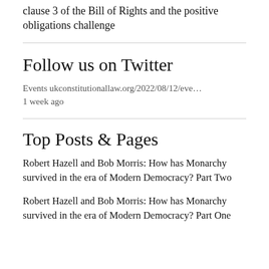clause 3 of the Bill of Rights and the positive obligations challenge
Follow us on Twitter
Events ukconstitutionallaw.org/2022/08/12/eve… 1 week ago
Top Posts & Pages
Robert Hazell and Bob Morris: How has Monarchy survived in the era of Modern Democracy? Part Two
Robert Hazell and Bob Morris: How has Monarchy survived in the era of Modern Democracy? Part One